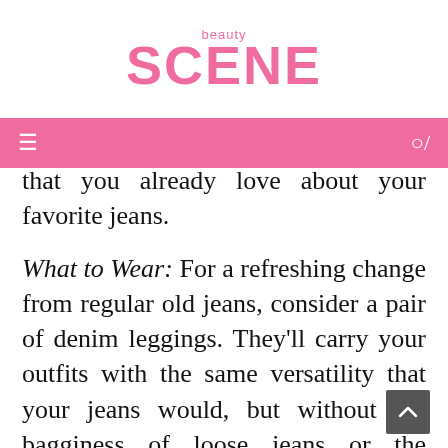beauty SCENE
that you already love about your favorite jeans.
What to Wear: For a refreshing change from regular old jeans, consider a pair of denim leggings. They'll carry your outfits with the same versatility that your jeans would, but without the bagginess of loose jeans or the constricting feeling of skinny jeans. Their form-fitting quality allows for freedom of movement, leveling up any average outfit-of-the-day.
What to Pair Them With: Denim leggings are great as a part of a casual ensemble. Try an oversized shirt or a boyfriend polo with your pair and finish the look off